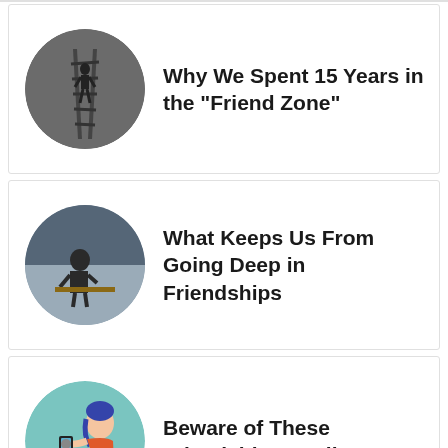Why We Spent 15 Years in the “Friend Zone”
What Keeps Us From Going Deep in Friendships
Beware of These Friendship “Spoilers”
0
REPLIES
Leave a Reply